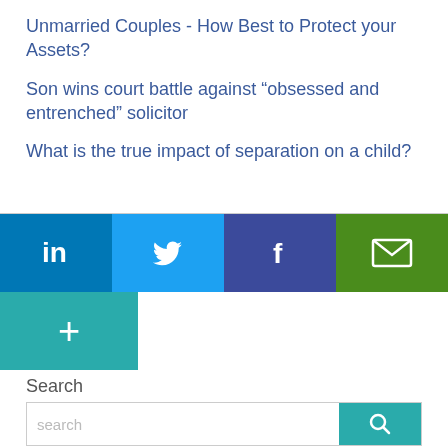Unmarried Couples - How Best to Protect your Assets?
Son wins court battle against “obsessed and entrenched” solicitor
What is the true impact of separation on a child?
[Figure (infographic): Social sharing bar with LinkedIn (teal/blue), Twitter (light blue), Facebook (dark blue), and Email (green) buttons, plus a Google+ button below.]
Search